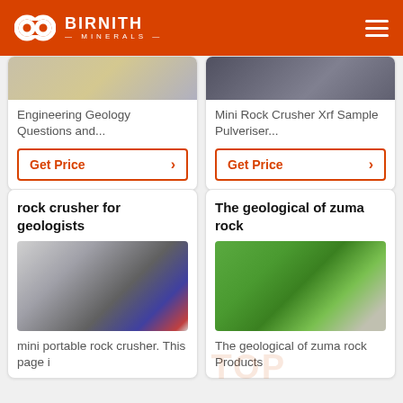BIRNITH MINERALS
Engineering Geology Questions and...
Get Price
Mini Rock Crusher Xrf Sample Pulveriser...
Get Price
rock crusher for geologists
[Figure (photo): Industrial rock crusher machine - white and blue motor unit]
mini portable rock crusher. This page i
The geological of zuma rock
[Figure (photo): Green geological/mining machine outdoors]
The geological of zuma rock Products